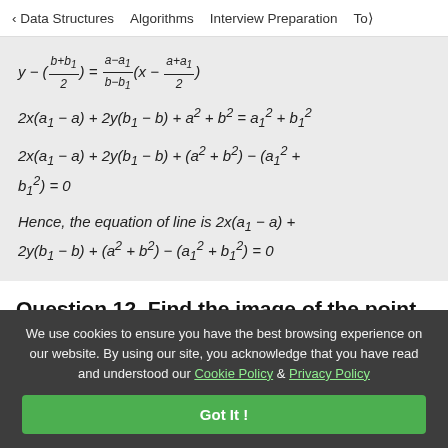< Data Structures   Algorithms   Interview Preparation   Top>
Hence, the equation of line is 2x(a1 - a) + 2y(b1 - b) + (a^2 + b^2) - (a1^2 + b1^2) = 0
Question 12. Find the image of the point (2,
We use cookies to ensure you have the best browsing experience on our website. By using our site, you acknowledge that you have read and understood our Cookie Policy & Privacy Policy
Got It !